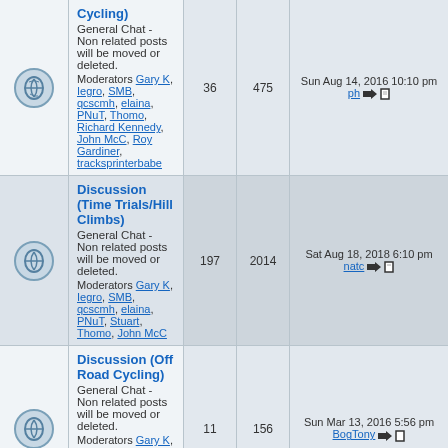|  | Forum | Topics | Posts | Last Post |
| --- | --- | --- | --- | --- |
| [icon] | Discussion (Cycling)
General Chat - Non related posts will be moved or deleted.
Moderators Gary K, Iegro, SMB, qcscmh, elaina, PNuT, Thomo, Richard Kennedy, John McC, Roy Gardiner, tracksprinterbabe | 36 | 475 | Sun Aug 14, 2016 10:10 pm
ph →□ |
| [icon] | Discussion (Time Trials/Hill Climbs)
General Chat - Non related posts will be moved or deleted.
Moderators Gary K, Iegro, SMB, qcscmh, elaina, PNuT, Stuart, Thomo, John McC | 197 | 2014 | Sat Aug 18, 2018 6:10 pm
natc →□ |
| [icon] | Discussion (Off Road Cycling)
General Chat - Non related posts will be moved or deleted.
Moderators Gary K, Iegro, SMB, qcscmh, elaina, PNuT, Richard Kennedy, Andrew Jackson | 11 | 156 | Sun Mar 13, 2016 5:56 pm
BogTony →□ |
| [icon] | Discussion (Commuting)
General Chat - Non related posts will be moved or deleted.
Moderators veloriders, Gary K, Iegro, elaina, Stuart, Richard Kennedy, John McC, Roy Gardiner, Andrew Jackson | 52 | 671 | Wed Jul 27, 2016 4:10 pm
GavSmurf →□ |
| [icon] | Technical
Bike & Bits |  |  |  |